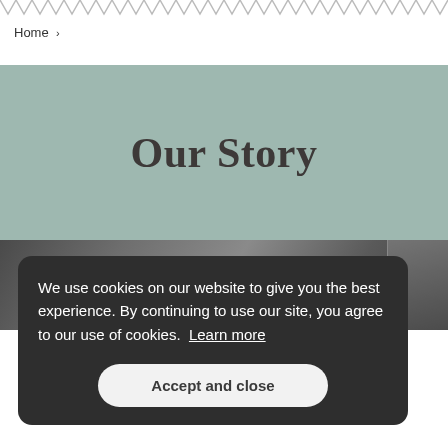Home >
Our Story
[Figure (photo): Grayscale photo strip at bottom of page showing people in a historic/vintage setting]
We use cookies on our website to give you the best experience. By continuing to use our site, you agree to our use of cookies. Learn more
Accept and close